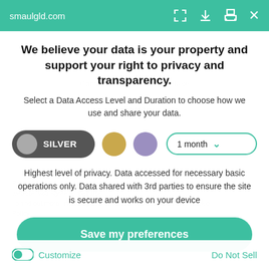smaulgld.com
We believe your data is your property and support your right to privacy and transparency.
Select a Data Access Level and Duration to choose how we use and share your data.
[Figure (infographic): Privacy level selector showing SILVER toggle button (dark grey pill with grey circle), a gold circle button, a purple circle button, and a '1 month' dropdown selector with teal border]
Highest level of privacy. Data accessed for necessary basic operations only. Data shared with 3rd parties to ensure the site is secure and works on your device
Save my preferences
Customize
Do Not Sell